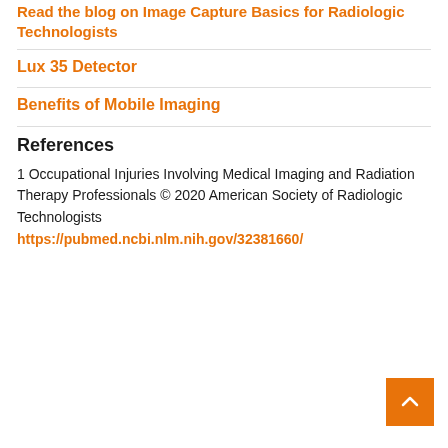Read the blog on Image Capture Basics for Radiologic Technologists
Lux 35 Detector
Benefits of Mobile Imaging
References
1 Occupational Injuries Involving Medical Imaging and Radiation Therapy Professionals © 2020 American Society of Radiologic Technologists https://pubmed.ncbi.nlm.nih.gov/32381660/